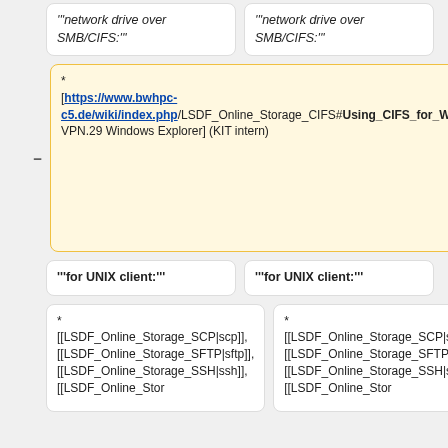'''network drive over SMB/CIFS:'''
'''network drive over SMB/CIFS:'''
* [https://www.bwhpc-c5.de/wiki/index.php/LSDF_Online_Storage_CIFS#Using_CIFS_for_WINDOWS_client_.28only_KIT_intern_or_KIT-VPN.29 Windows Explorer] (KIT intern)
** [[LSDF_Online_Storage_CIFS#Using_SMB.2FCIFS_for_Windows_client_.28only_KIT_intern_or_KIT-VPN.29|Windows Explorer]] (KIT intern)
'''for UNIX client:'''
'''for UNIX client:'''
* [[LSDF_Online_Storage_SCP|scp]], [[LSDF_Online_Storage_SFTP|sftp]], [[LSDF_Online_Storage_SSH|ssh]], [[LSDF_Online_Stor
* [[LSDF_Online_Storage_SCP|scp]], [[LSDF_Online_Storage_SFTP|sftp]], [[LSDF_Online_Storage_SSH|ssh]], [[LSDF_Online_Stor